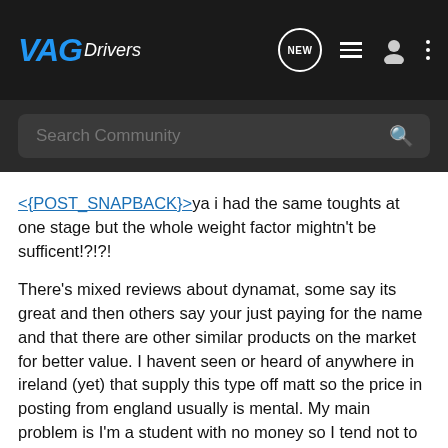VAG Drivers
Search Community
<{POST_SNAPBACK}>ya i had the same toughts at one stage but the whole weight factor mightn't be sufficent!?!?!

There's mixed reviews about dynamat, some say its great and then others say your just paying for the name and that there are other similar products on the market for better value. I havent seen or heard of anywhere in ireland (yet) that supply this type off matt so the price in posting from england usually is mental. My main problem is I'm a student with no money so I tend not to look at the stuff on the market. Had tought about using 'cow mats', that's not the name for them i know, we had them on the floor at work in the shop behind the counter, their like an inch thick rubber mat. The weight of them might cause the car to loose some power.